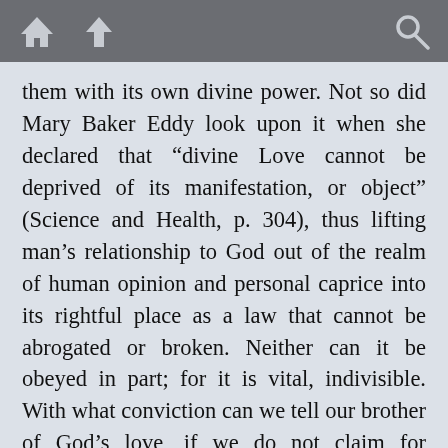[toolbar with home, up, and search icons]
them with its own divine power. Not so did Mary Baker Eddy look upon it when she declared that “divine Love cannot be deprived of its manifestation, or object” (Science and Health, p. 304), thus lifting man’s relationship to God out of the realm of human opinion and personal caprice into its rightful place as a law that cannot be abrogated or broken. Neither can it be obeyed in part; for it is vital, indivisible. With what conviction can we tell our brother of God’s love, if we do not claim for ourselves “the love that God hath to us”?